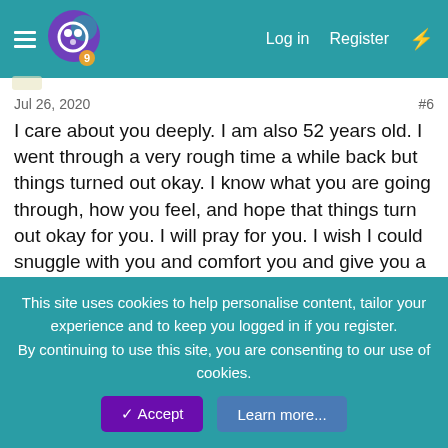Log in  Register
Jul 26, 2020  #6
I care about you deeply. I am also 52 years old. I went through a very rough time a while back but things turned out okay. I know what you are going through, how you feel, and hope that things turn out okay for you. I will pray for you. I wish I could snuggle with you and comfort you and give you a place to live.
toomuchreality
Sunday16
SF Supporter
Jul 26, 2020  #7
This site uses cookies to help personalise content, tailor your experience and to keep you logged in if you register.
By continuing to use this site, you are consenting to our use of cookies.